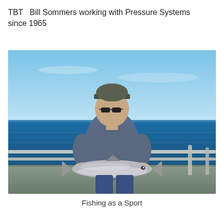TBT  Bill Sommers working with Pressure Systems since 1965
[Figure (photo): A man sitting on a boat on open blue water, wearing a baseball cap and sunglasses, holding a large fish (salmon) horizontally in front of him. The background shows the ocean and a clear blue sky.]
Fishing as a Sport